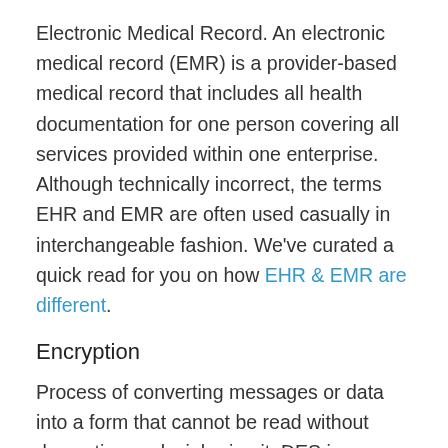Electronic Medical Record. An electronic medical record (EMR) is a provider-based medical record that includes all health documentation for one person covering all services provided within one enterprise. Although technically incorrect, the terms EHR and EMR are often used casually in interchangeable fashion. We've curated a quick read for you on how EHR & EMR are different.
Encryption
Process of converting messages or data into a form that cannot be read without decrypting or deciphering it. DES is one such commonly used system. Encryption allows sharing of sensitive or confidential information on the Internet with...